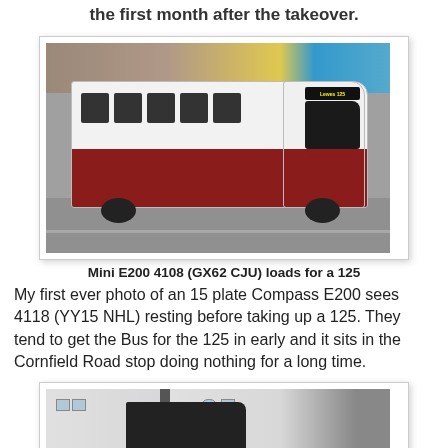the first month after the takeover.
[Figure (photo): A white and red Compass Bus mini E200 travelling on a street, with brick buildings and shops in the background.]
Mini E200 4108 (GX62 CJU) loads for a 125
My first ever photo of an 15 plate Compass E200 sees 4118 (YY15 NHL) resting before taking up a 125. They tend to get the Bus for the 125 in early and it sits in the Cornfield Road stop doing nothing for a long time.
[Figure (photo): Partial view of a bus in front of white/grey buildings on a street.]